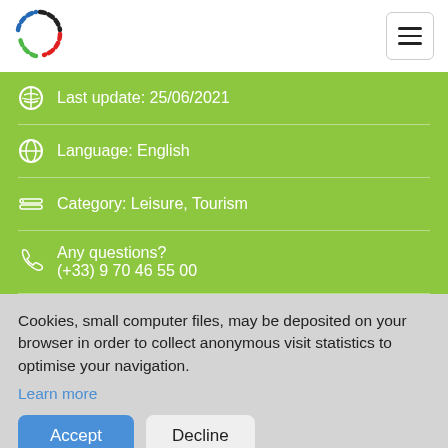[Figure (logo): Colored dotted circle logo (dashed segments in black, red, green, blue)]
Last update: 25/06/2021
Language: English
Category: Leisure, Tourism
Any questions? (+33) 9 70 46 55 00
Cookies, small computer files, may be deposited on your browser in order to collect anonymous visit statistics to optimise your navigation.
Learn more
Accept
Decline
REVIEWS